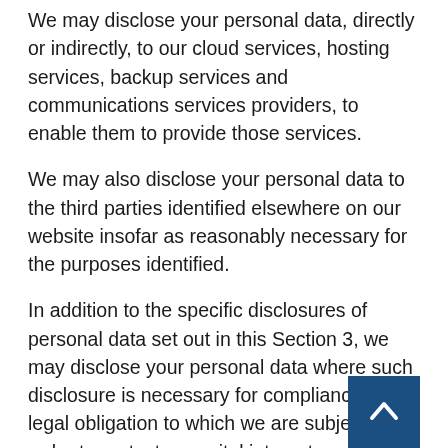We may disclose your personal data, directly or indirectly, to our cloud services, hosting services, backup services and communications services providers, to enable them to provide those services.
We may also disclose your personal data to the third parties identified elsewhere on our website insofar as reasonably necessary for the purposes identified.
In addition to the specific disclosures of personal data set out in this Section 3, we may disclose your personal data where such disclosure is necessary for compliance with a legal obligation to which we are subject, or in order to protect your vital interests or the vital interests of another natural person. We may also disclose your personal data where such disclosure is necessary for the establishment, exercise or defence of legal claims, whether in court